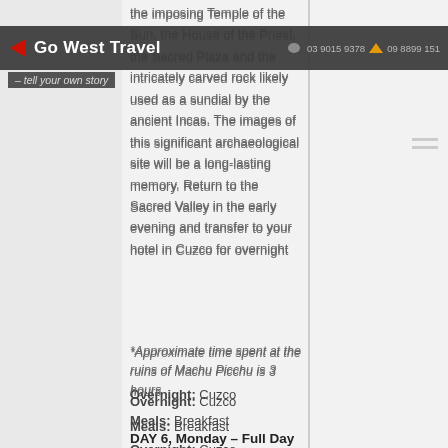Go West Travel – tell your own story | 03 9015 9378 | 09 8899 151
the imposing Temple of the Sun, the House of the Priest, the Sacred Plaza and the intricately carved rock likely used as a sundial by the ancient Incas. The images of this significant archaeological site will be a long-lasting memory. Return to the Sacred Valley in the early evening and transfer to your hotel in Cuzco for overnight
*Approximate time spent at the ruins of Machu Picchu is 3 hours
Overnight: Cuzco
Meals: Breakfast
DAY 6, Monday – Full Day in Cuzco
Spend today independently